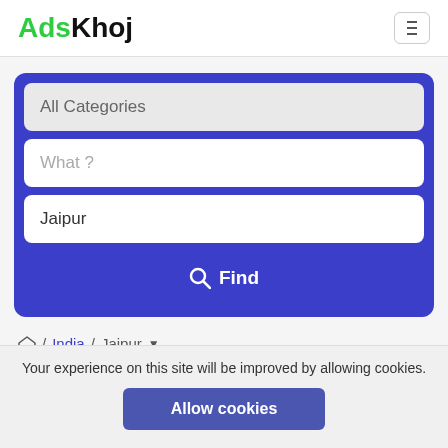AdsKhoj
[Figure (screenshot): Search widget with All Categories dropdown, What? text input, Jaipur location input, and Find button on blue background]
Home / India / Jaipur
All Listings
Your experience on this site will be improved by allowing cookies.
Allow cookies